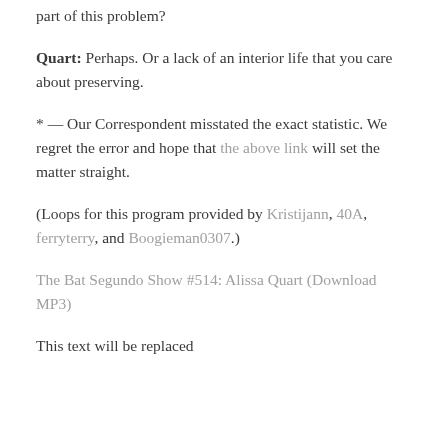part of this problem?
Quart: Perhaps. Or a lack of an interior life that you care about preserving.
* — Our Correspondent misstated the exact statistic. We regret the error and hope that the above link will set the matter straight.
(Loops for this program provided by Kristijann, 40A, ferryterry, and Boogieman0307.)
The Bat Segundo Show #514: Alissa Quart (Download MP3)
This text will be replaced